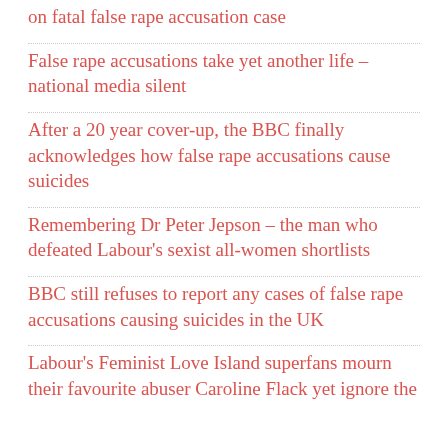on fatal false rape accusation case
False rape accusations take yet another life – national media silent
After a 20 year cover-up, the BBC finally acknowledges how false rape accusations cause suicides
Remembering Dr Peter Jepson – the man who defeated Labour's sexist all-women shortlists
BBC still refuses to report any cases of false rape accusations causing suicides in the UK
Labour's Feminist Love Island superfans mourn their favourite abuser Caroline Flack yet ignore the